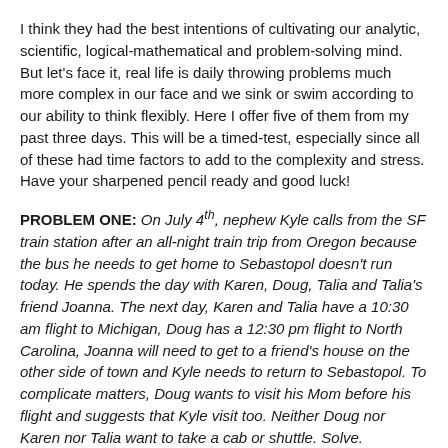I think they had the best intentions of cultivating our analytic, scientific, logical-mathematical and problem-solving mind. But let's face it, real life is daily throwing problems much more complex in our face and we sink or swim according to our ability to think flexibly. Here I offer five of them from my past three days. This will be a timed-test, especially since all of these had time factors to add to the complexity and stress. Have your sharpened pencil ready and good luck!
PROBLEM ONE: On July 4th, nephew Kyle calls from the SF train station after an all-night train trip from Oregon because the bus he needs to get home to Sebastopol doesn't run today. He spends the day with Karen, Doug, Talia and Talia's friend Joanna. The next day, Karen and Talia have a 10:30 am flight to Michigan, Doug has a 12:30 pm flight to North Carolina, Joanna will need to get to a friend's house on the other side of town and Kyle needs to return to Sebastopol. To complicate matters, Doug wants to visit his Mom before his flight and suggests that Kyle visit too. Neither Doug nor Karen nor Talia want to take a cab or shuttle. Solve.